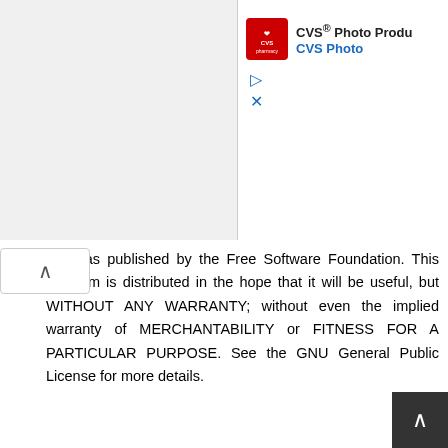[Figure (screenshot): CVS Pharmacy advertisement banner with logo and 'CVS Photo Products / CVS Photo' text, play and close icons]
on 3 as published by the Free Software Foundation. This program is distributed in the hope that it will be useful, but WITHOUT ANY WARRANTY; without even the implied warranty of MERCHANTABILITY or FITNESS FOR A PARTICULAR PURPOSE. See the GNU General Public License for more details.
https://fastocloud.com
https://github.com/fastogt/fastocloud
iptv  restream  cloud  relay  encoding  timeshift  broadcast